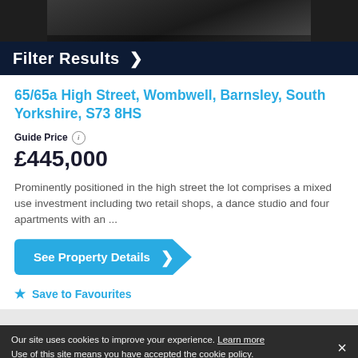[Figure (photo): Cropped top portion of a property photo, dark toned image showing a building exterior]
65/65a High Street, Wombwell, Barnsley, South Yorkshire, S73 8HS
Guide Price ℹ
£445,000
Prominently positioned in the high street the lot comprises a mixed use investment including two retail shops, a dance studio and four apartments with an ...
See Property Details ›
★ Save to Favourites
Our site uses cookies to improve your experience. Learn more Use of this site means you have accepted the cookie policy.